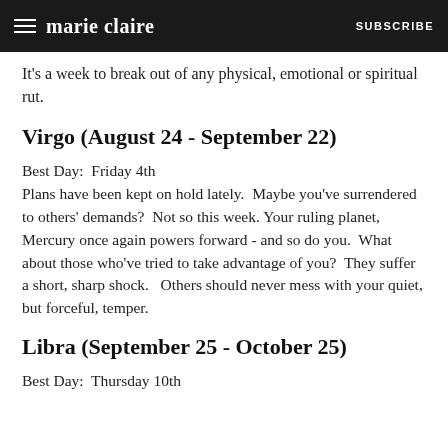marie claire | SUBSCRIBE
It's a week to break out of any physical, emotional or spiritual rut.
Virgo (August 24 - September 22)
Best Day:  Friday 4th
Plans have been kept on hold lately.  Maybe you've surrendered to others' demands?  Not so this week.  Your ruling planet, Mercury once again powers forward - and so do you.  What about those who've tried to take advantage of you?  They suffer a short, sharp shock.   Others should never mess with your quiet, but forceful, temper.
Libra (September 25 - October 25)
Best Day:  Thursday 10th